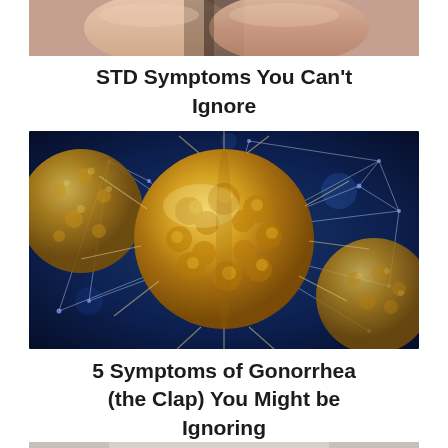[Figure (photo): Cropped photo showing the lower torso/legs of a person, skin-toned background, partial view at top of page]
STD Symptoms You Can’t Ignore
[Figure (photo): Microscopic illustration of gonorrhea/bacteria cells - golden-yellow spherical microorganisms with filaments against a dark blue background]
5 Symptoms of Gonorrhea (the Clap) You Might be Ignoring
[Figure (photo): Photo of a woman in a white tank top and white shorts, holding a magnifying glass near her midsection, examining her abdomen]